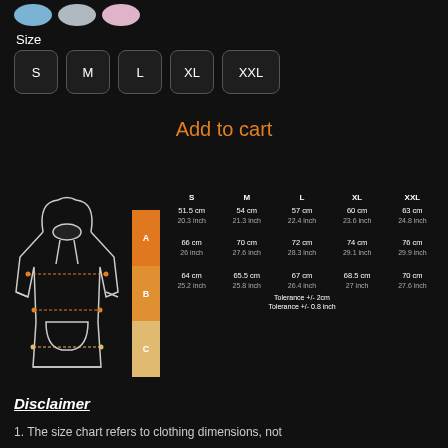[Figure (illustration): Three color swatches: blue, gray, pink]
Size
[Figure (other): Size selector buttons: S, M, L, XL, XXL]
Add to cart
|  | S | M | L | XL | XXL |
| --- | --- | --- | --- | --- | --- |
| A | 51.5 cm / 20.3 inch | 54 cm / 21.3 inch | 57 cm / 22.4 inch | 60 cm / 23.6 inch | 63 cm / 24.8 inch |
| B | 66 cm / 26 inch | 70 cm / 27.6 inch | 72 cm / 28.3 inch | 74 cm / 29.1 inch | 76 cm / 29.9 inch |
| C | 64 cm / 25.2 inch | 65.5 cm / 25.8 inch | 67 cm / 26.4 inch | 68.5 cm / 27 inch | 70 cm / 27.6 inch |
Tolerance +/- 2cm
Tolerance +/- 0.8 inch
Disclaimer
1. The size chart refers to clothing dimensions, not